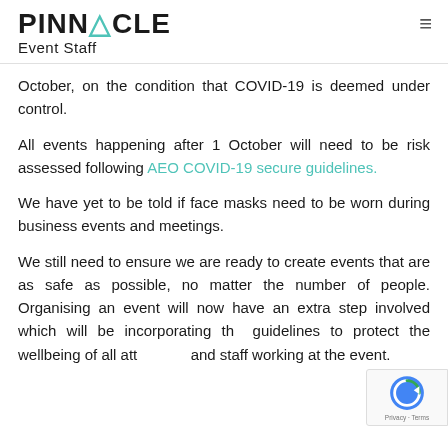PINNACLE Event Staff
October, on the condition that COVID-19 is deemed under control.
All events happening after 1 October will need to be risk assessed following AEO COVID-19 secure guidelines.
We have yet to be told if face masks need to be worn during business events and meetings.
We still need to ensure we are ready to create events that are as safe as possible, no matter the number of people. Organising an event will now have an extra step involved which will be incorporating the guidelines to protect the wellbeing of all attendees and staff working at the event.